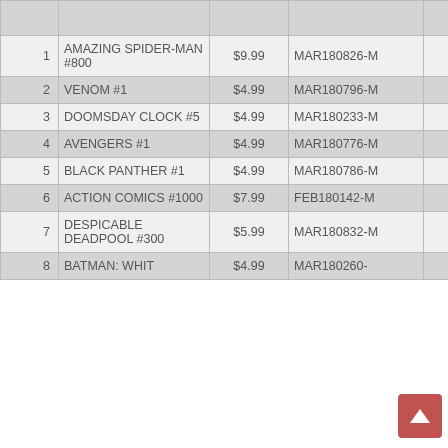| # | Title | Price | Code | Pub |
| --- | --- | --- | --- | --- |
|  |  |  |  |  |
| 1 | AMAZING SPIDER-MAN #800 | $9.99 | MAR180826-M | MAR |
| 2 | VENOM #1 | $4.99 | MAR180796-M | MAR |
| 3 | DOOMSDAY CLOCK #5 | $4.99 | MAR180233-M | DC |
| 4 | AVENGERS #1 | $4.99 | MAR180776-M | MAR |
| 5 | BLACK PANTHER #1 | $4.99 | MAR180786-M | MAR |
| 6 | ACTION COMICS #1000 | $7.99 | FEB180142-M | DC |
| 7 | DESPICABLE DEADPOOL #300 | $5.99 | MAR180832-M | MAR |
| 8 | BATMAN: [truncated] | $4.99 | MAR180260- | DC |